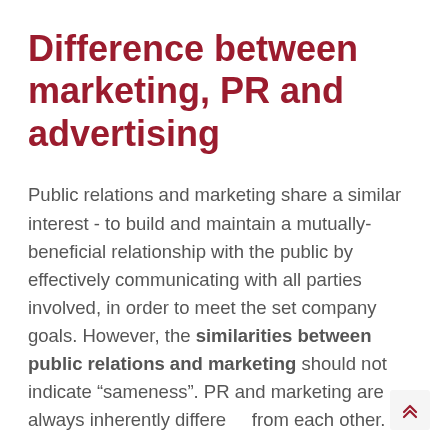Difference between marketing, PR and advertising
Public relations and marketing share a similar interest - to build and maintain a mutually-beneficial relationship with the public by effectively communicating with all parties involved, in order to meet the set company goals. However, the similarities between public relations and marketing should not indicate “sameness”. PR and marketing are always inherently different from each other.